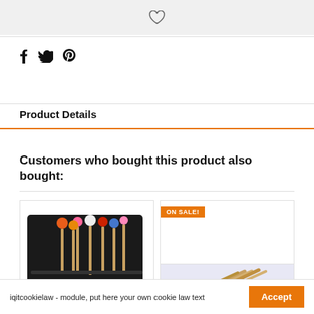[Figure (other): Wishlist heart icon button bar]
[Figure (other): Social sharing icons: Facebook (f), Twitter (bird), Pinterest (p)]
Product Details
Customers who bought this product also bought:
[Figure (photo): Drum mallets/sticks in a black carrying case with multiple colored heads]
[Figure (photo): ON SALE! Product image - white card with diagonal wooden sticks at bottom]
iqitcookielaw - module, put here your own cookie law text
Accept